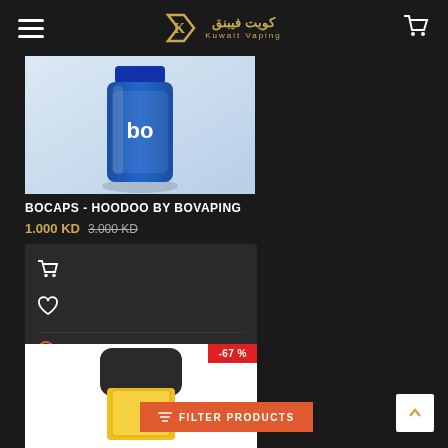Kuwait Vaping / كويت فيبنق
[Figure (photo): Blue cylindrical vaping product bottle with 'bo' logo, on grey background]
BOCAPS - HOODOO BY BOVAPING
1.000 KD  3.000 KD (strikethrough)
[Figure (photo): Vaping pod/cartridge with black top and yellow/gold body, on white background, with -67% discount badge]
FILTER PRODUCTS